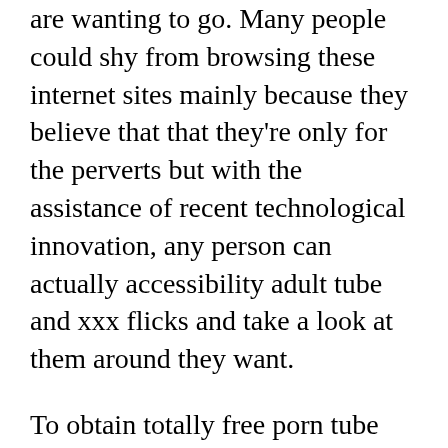are wanting to go. Many people could shy from browsing these internet sites mainly because they believe that that they're only for the perverts but with the assistance of recent technological innovation, any person can actually accessibility adult tube and xxx flicks and take a look at them around they want.
To obtain totally free porn tube web pages, you do not have to obtain just about anything. All you need is really an Connection to the internet and also you are able to go. You do not even have to have a membership to use the Grownup online video sites. There are actually even some